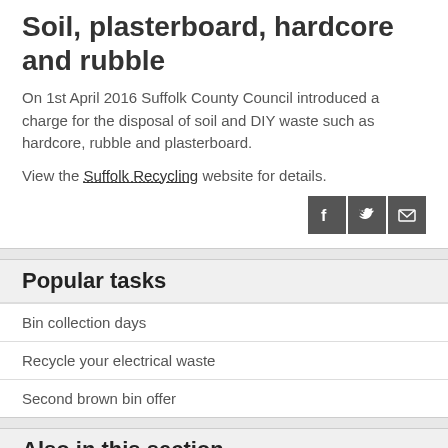Soil, plasterboard, hardcore and rubble
On 1st April 2016 Suffolk County Council introduced a charge for the disposal of soil and DIY waste such as hardcore, rubble and plasterboard.
View the Suffolk Recycling website for details.
Popular tasks
Bin collection days
Recycle your electrical waste
Second brown bin offer
Also in this section
Podback FAQs
Recycle your coffee pods with Podback